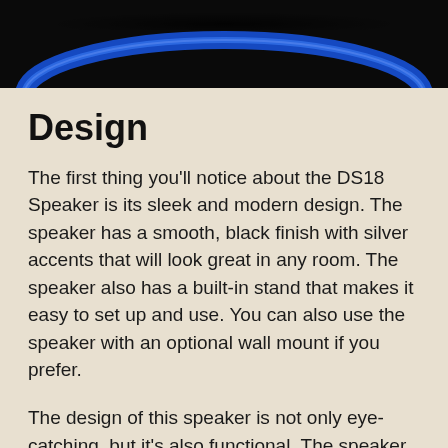[Figure (photo): Top portion of a speaker with blue light glow visible against a black background]
Design
The first thing you'll notice about the DS18 Speaker is its sleek and modern design. The speaker has a smooth, black finish with silver accents that will look great in any room. The speaker also has a built-in stand that makes it easy to set up and use. You can also use the speaker with an optional wall mount if you prefer.
The design of this speaker is not only eye-catching, but it's also functional. The speaker has a built-in amplifier that delivers clear, powerful sound. The speaker also includes